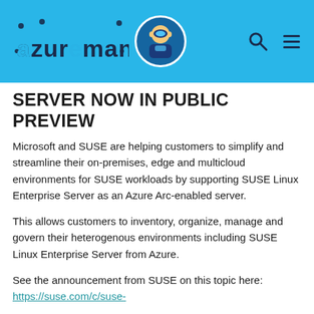AzureMan [logo with avatar, search icon, menu icon]
SERVER NOW IN PUBLIC PREVIEW
Microsoft and SUSE are helping customers to simplify and streamline their on-premises, edge and multicloud environments for SUSE workloads by supporting SUSE Linux Enterprise Server as an Azure Arc-enabled server.
This allows customers to inventory, organize, manage and govern their heterogenous environments including SUSE Linux Enterprise Server from Azure.
See the announcement from SUSE on this topic here: https://suse.com/c/suse-